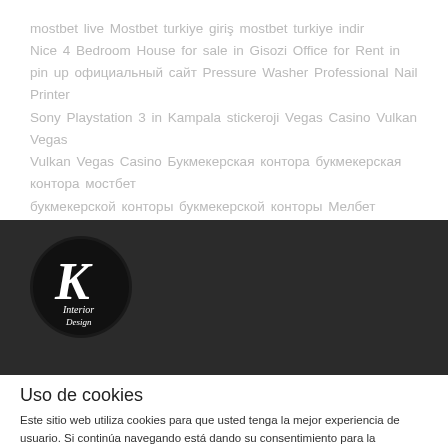mostbet live Mostbet turkiye giriş mostbet turkiye indir Nice 4 Bedroom House for sale in Gisozi Office for Rent in pin up официальный сайт Pressure Washer Professional Nail Printer Sony Playstation 3 in Kampala stickeroji Vegas Casino Vulkan Vegas Vulkan Vegas Casino Букмекерская контора букмекерская контора мостбет букмекерской конторы букмекерской конторы Мелбет конторы Мелбет мостбет ком онлайн казино
[Figure (logo): K Interior Design logo — white cursive text on black circular background]
Uso de cookies
Este sitio web utiliza cookies para que usted tenga la mejor experiencia de usuario. Si continúa navegando está dando su consentimiento para la aceptación de las mencionadas cookies y la aceptación de nuestra política de cookies, pinche el enlace para mayor información.
ACEPTAR